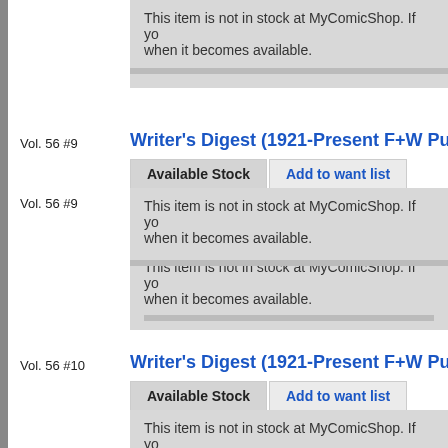This item is not in stock at MyComicShop. If yo when it becomes available.
Vol. 56 #9
Writer's Digest (1921-Present F+W Pub
Available Stock
Add to want list
This item is not in stock at MyComicShop. If yo when it becomes available.
Vol. 56 #10
Writer's Digest (1921-Present F+W Pub
Available Stock
Add to want list
This item is not in stock at MyComicShop. If yo when it becomes available.